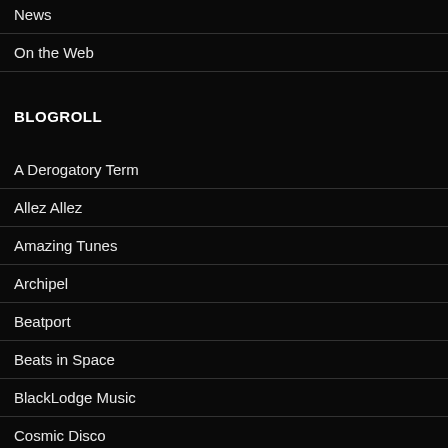News
On the Web
BLOGROLL
A Derogatory Term
Allez Allez
Amazing Tunes
Archipel
Beatport
Beats in Space
BlackLodge Music
Cosmic Disco